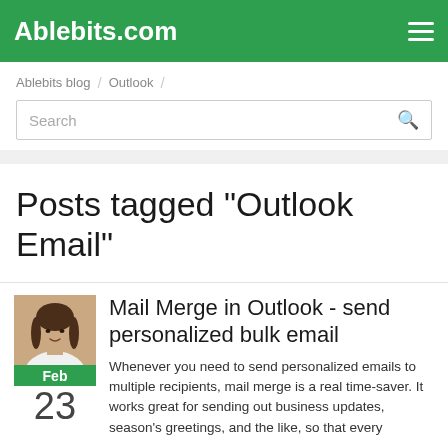Ablebits.com
Ablebits blog / Outlook /
Search
Posts tagged "Outlook Email"
[Figure (photo): Author photo: woman in white shirt]
Mail Merge in Outlook - send personalized bulk email
Feb
23
Whenever you need to send personalized emails to multiple recipients, mail merge is a real time-saver. It works great for sending out business updates, season's greetings, and the like, so that every